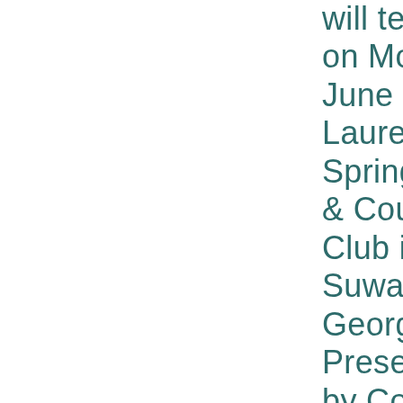will tee off on Monday, June 6, at Laurel Springs Golf & Country Club in Suwanee, Georgia. Presented by Coca-Cola United of Gainesville, the tournament is named for the late